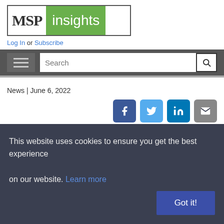[Figure (logo): MSP Insights logo with green background for 'insights' text and white background for 'MSP']
Log In or Subscribe
[Figure (screenshot): Navigation bar with hamburger menu icon on left and search bar with magnifying glass icon on right]
News | June 6, 2022
[Figure (infographic): Social sharing icons: Facebook (blue), Twitter (light blue), LinkedIn (dark blue), Email (gray)]
Augmentt And SeedPod Bring To
This website uses cookies to ensure you get the best experience on our website. Learn more
Got it!